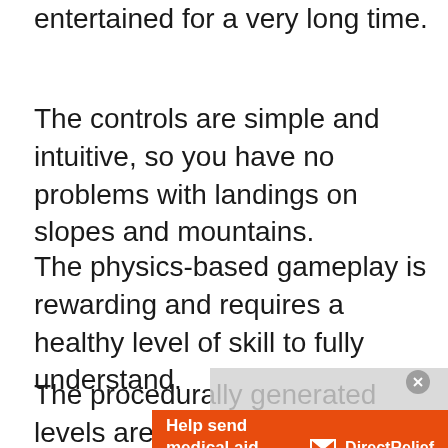entertained for a very long time.
The controls are simple and intuitive, so you have no problems with landings on slopes and mountains.
The physics-based gameplay is rewarding and requires a healthy level of skill to fully understand.
The procedurally generated levels are truly pleasing to the eye, especially when combined
[Figure (screenshot): Orange advertisement banner for Direct Relief: 'Help send medical aid to Ukraine >>' with Direct Relief logo and envelope icon on orange background, overlaid on the page content with a grey semi-transparent overlay above it.]